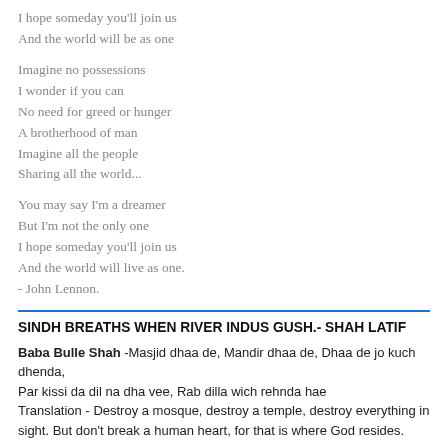I hope someday you'll join us
And the world will be as one
Imagine no possessions
I wonder if you can
No need for greed or hunger
A brotherhood of man
Imagine all the people
Sharing all the world...
You may say I'm a dreamer
But I'm not the only one
I hope someday you'll join us
And the world will live as one.
- John Lennon.
SINDH BREATHS WHEN RIVER INDUS GUSH.- SHAH LATIF
Baba Bulle Shah -Masjid dhaa de, Mandir dhaa de, Dhaa de jo kuch dhenda,
Par kissi da dil na dha vee, Rab dilla wich rehnda hae
Translation - Destroy a mosque, destroy a temple, destroy everything in sight. But don't break a human heart, for that is where God resides.